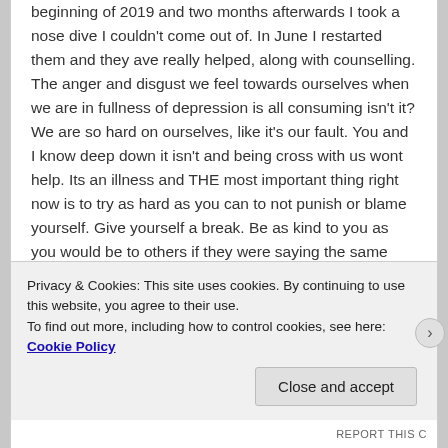beginning of 2019 and two months afterwards I took a nose dive I couldn't come out of. In June I restarted them and they ave really helped, along with counselling. The anger and disgust we feel towards ourselves when we are in fullness of depression is all consuming isn't it? We are so hard on ourselves, like it's our fault. You and I know deep down it isn't and being cross with us wont help. Its an illness and THE most important thing right now is to try as hard as you can to not punish or blame yourself. Give yourself a break. Be as kind to you as you would be to others if they were saying the same things to you. have As kind as you have been to me in the past when I have
Privacy & Cookies: This site uses cookies. By continuing to use this website, you agree to their use.
To find out more, including how to control cookies, see here: Cookie Policy
Close and accept